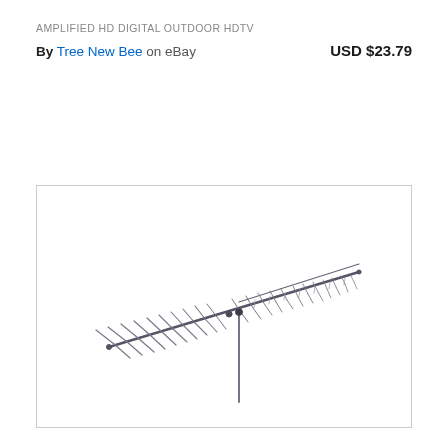AMPLIFIED HD DIGITAL OUTDOOR HDTV
By Tree New Bee on eBay   USD $23.79
[Figure (photo): Product photo of an amplified HD digital outdoor HDTV antenna, a Yagi-style directional antenna with multiple elements on a horizontal boom and a vertical mast, shown against a white background inside a light-bordered box.]